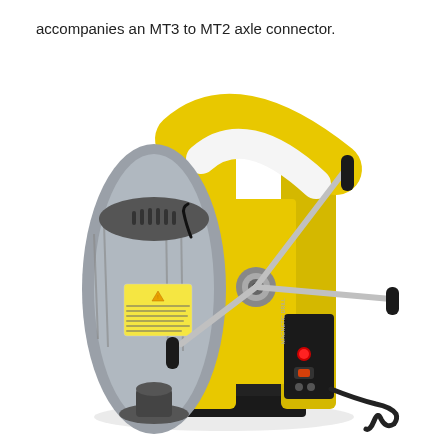accompanies an MT3 to MT2 axle connector.
[Figure (photo): A yellow and grey magnetic drill press (magnetic drill) shown at an angle. The machine features a yellow cast body/frame, a grey cylindrical motor housing on the left with a warning label, silver/chrome control arms with black handles extending outward (one upward-right, one downward-left, one to the right), a black control panel area on the right side with a red indicator button and power switch, and a black power cord coiling at the bottom right. The unit sits on a dark base.]